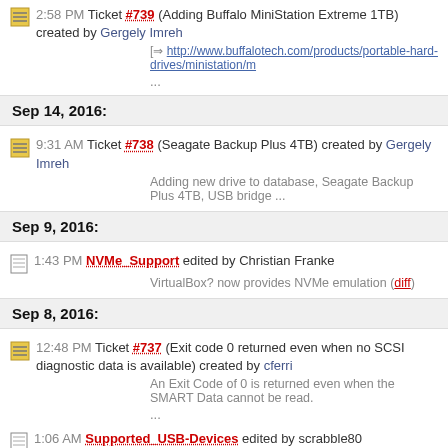2:58 PM Ticket #739 (Adding Buffalo MiniStation Extreme 1TB) created by Gergely Imreh
http://www.buffalotech.com/products/portable-hard-drives/ministation/m
...
Sep 14, 2016:
9:31 AM Ticket #738 (Seagate Backup Plus 4TB) created by Gergely Imreh
Adding new drive to database, Seagate Backup Plus 4TB, USB bridge ...
Sep 9, 2016:
1:43 PM NVMe_Support edited by Christian Franke
VirtualBox? now provides NVMe emulation (diff)
Sep 8, 2016:
12:48 PM Ticket #737 (Exit code 0 returned even when no SCSI diagnostic data is available) created by cferri
An Exit Code of 0 is returned even when the SMART Data cannot be read.
...
1:06 AM Supported_USB-Devices edited by scrabble80